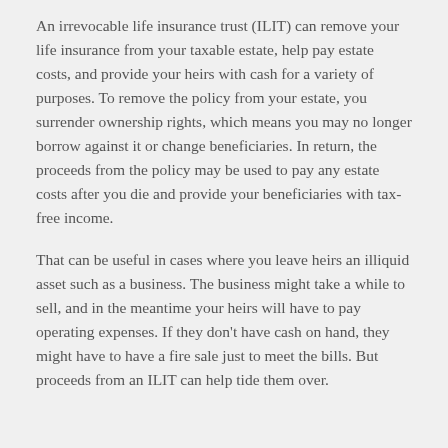An irrevocable life insurance trust (ILIT) can remove your life insurance from your taxable estate, help pay estate costs, and provide your heirs with cash for a variety of purposes. To remove the policy from your estate, you surrender ownership rights, which means you may no longer borrow against it or change beneficiaries. In return, the proceeds from the policy may be used to pay any estate costs after you die and provide your beneficiaries with tax-free income.
That can be useful in cases where you leave heirs an illiquid asset such as a business. The business might take a while to sell, and in the meantime your heirs will have to pay operating expenses. If they don't have cash on hand, they might have to have a fire sale just to meet the bills. But proceeds from an ILIT can help tide them over.